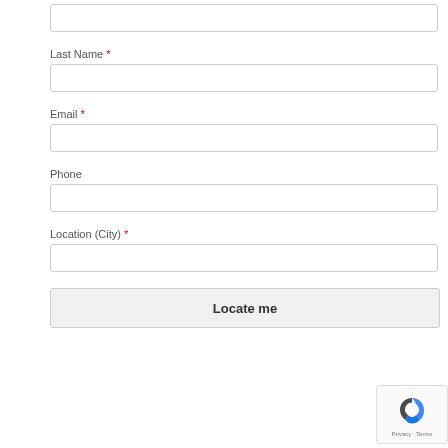Last Name *
Email *
Phone
Location (City) *
Locate me
[Figure (logo): reCAPTCHA badge with logo and Privacy - Terms links]